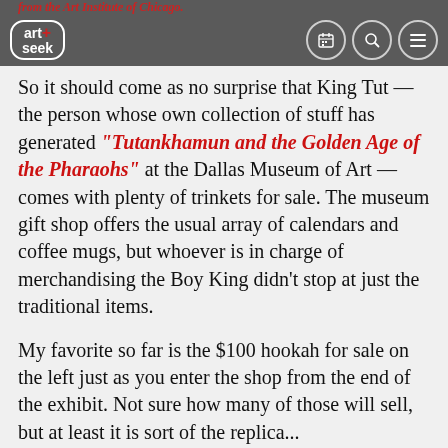from the Art Institute of Chicago.
[Figure (logo): Art+Seek logo: white rounded rectangle border with 'art+seek' text and a red plus sign, on dark grey navigation bar with calendar, search, and hamburger menu icons]
So it should come as no surprise that King Tut — the person whose own collection of stuff has generated “Tutankhamun and the Golden Age of the Pharaohs” at the Dallas Museum of Art — comes with plenty of trinkets for sale. The museum gift shop offers the usual array of calendars and coffee mugs, but whoever is in charge of merchandising the Boy King didn’t stop at just the traditional items.
My favorite so far is the $100 hookah for sale on the left just as you enter the shop from the end of the exhibit. Not sure how many of those will sell, but at least it is sort of the replica...